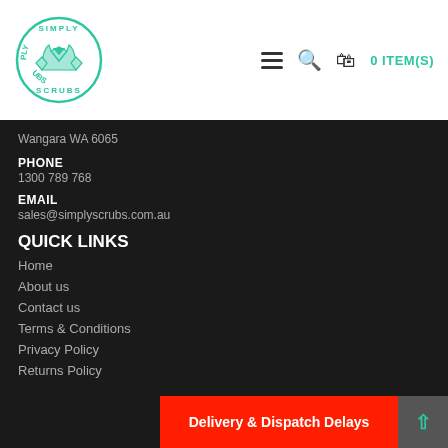[Figure (logo): Simply Scrubs circular logo with a teal scrubs top illustration and text around the circle]
0 ITEM(S)
Wangara WA 6065
PHONE
1300 789 768
EMAIL
sales@simplyscrubs.com.au
QUICK LINKS
Home
About us
Contact us
Terms & Conditions
Privacy Policy
Returns Policy
Delivery & Dispatch Delays